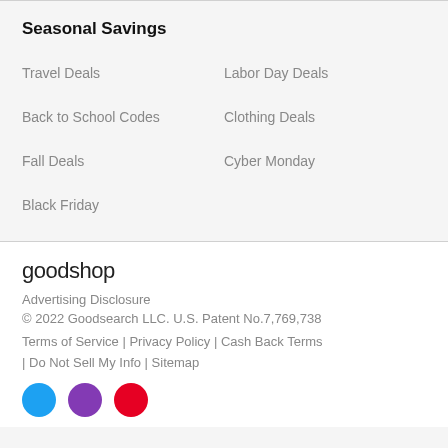Seasonal Savings
Travel Deals
Labor Day Deals
Back to School Codes
Clothing Deals
Fall Deals
Cyber Monday
Black Friday
goodshop
Advertising Disclosure
© 2022 Goodsearch LLC. U.S. Patent No.7,769,738
Terms of Service | Privacy Policy | Cash Back Terms | Do Not Sell My Info | Sitemap
[Figure (illustration): Social media icon circles: blue (Twitter), purple (Instagram), red (Pinterest)]